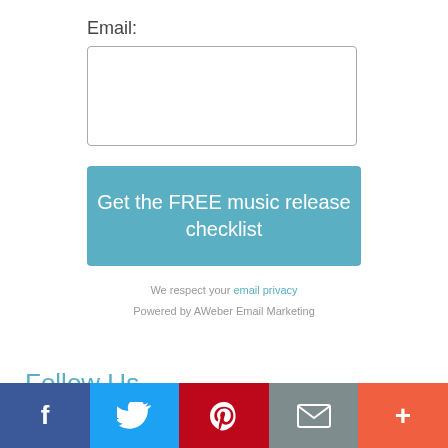Email:
[Figure (other): Email input text box (empty form field)]
Get the FREE music release checklist
We respect your email privacy
Powered by AWeber Email Marketing
Follow Us...
[Figure (other): Social media sharing bar with Facebook, Twitter, Pinterest, Email, and More buttons]